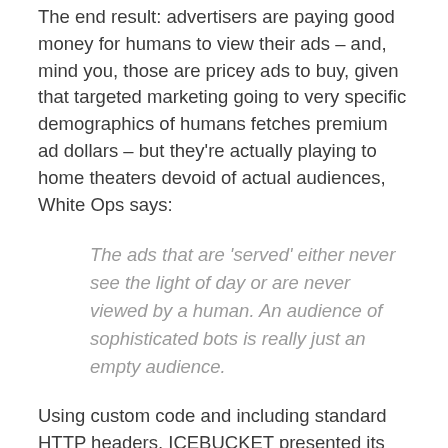The end result: advertisers are paying good money for humans to view their ads – and, mind you, those are pricey ads to buy, given that targeted marketing going to very specific demographics of humans fetches premium ad dollars – but they're actually playing to home theaters devoid of actual audiences, White Ops says:
The ads that are 'served' either never see the light of day or are never viewed by a human. An audience of sophisticated bots is really just an empty audience.
Using custom code and including standard HTTP headers, ICEBUCKET presented its traffic as coming from a legitimate SSAI provider for a variety of devices